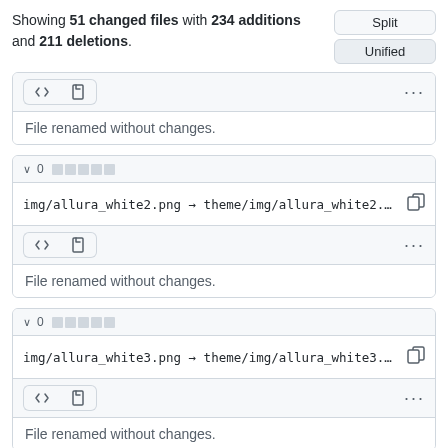Showing 51 changed files with 234 additions and 211 deletions.
[Figure (screenshot): Split / Unified toggle buttons]
[Figure (screenshot): First file block showing toolbar with <> and file icon buttons, three-dot menu, and 'File renamed without changes.' message]
[Figure (screenshot): Second file block: collapse chevron, 0 badge, five gray progress blocks, file path 'img/allura_white2.png → theme/img/allura_white2.p…', copy icon, toolbar with <> and file icon, three-dot menu, 'File renamed without changes.']
[Figure (screenshot): Third file block: collapse chevron, 0 badge, five gray progress blocks, file path 'img/allura_white3.png → theme/img/allura_white3.p…', copy icon, toolbar with <> and file icon, three-dot menu, 'File renamed without changes.']